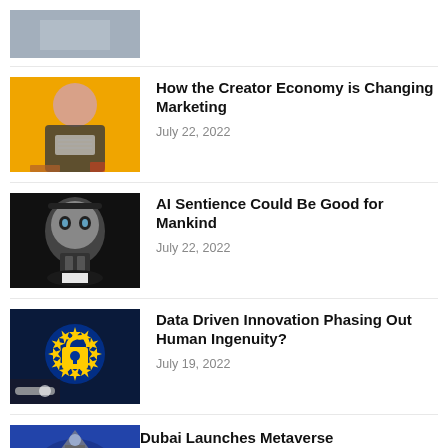[Figure (photo): Partial image at top, person at desk, cropped]
[Figure (photo): Woman in front of yellow background holding fanned money]
How the Creator Economy is Changing Marketing
July 22, 2022
[Figure (photo): AI humanoid robot face, dark background]
AI Sentience Could Be Good for Mankind
July 22, 2022
[Figure (photo): European Union flag with padlock, data innovation concept]
Data Driven Innovation Phasing Out Human Ingenuity?
July 19, 2022
[Figure (photo): Partial image at bottom, Dubai Metaverse article thumbnail]
Dubai Launches Metaverse